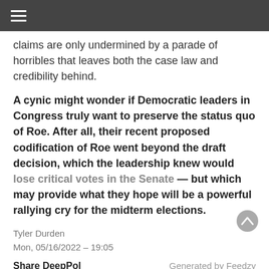≡
claims are only undermined by a parade of horribles that leaves both the case law and credibility behind.
A cynic might wonder if Democratic leaders in Congress truly want to preserve the status quo of Roe. After all, their recent proposed codification of Roe went beyond the draft decision, which the leadership knew would lose critical votes in the Senate — but which may provide what they hope will be a powerful rallying cry for the midterm elections.
Tyler Durden
Mon, 05/16/2022 – 19:05
Share DeepPol
Generated by Feedzy